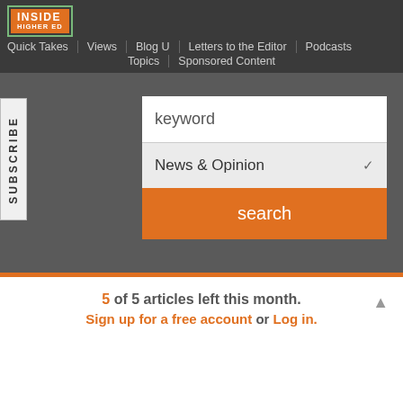[Figure (logo): Inside Higher Ed logo with orange background and green border]
Quick Takes | Views | Blog U | Letters to the Editor | Podcasts | Topics | Sponsored Content
[Figure (screenshot): Search interface with keyword input, News & Opinion dropdown, and orange search button. Subscribe tab on left side.]
5 of 5 articles left this month.
Sign up for a free account or Log in.